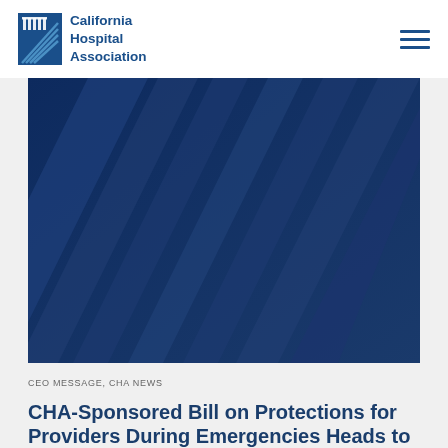California Hospital Association
[Figure (illustration): Dark navy blue decorative background image with diagonal light ray streaks, used as a hero banner image for the article]
CEO MESSAGE, CHA NEWS
CHA-Sponsored Bill on Protections for Providers During Emergencies Heads to